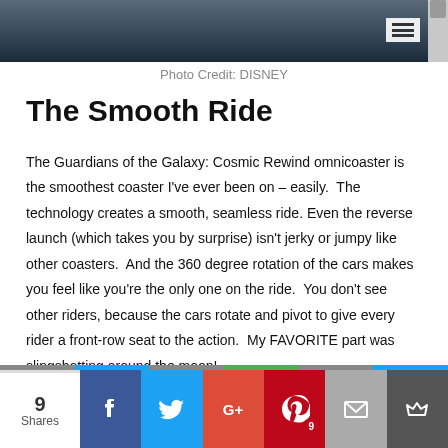[Figure (photo): Top portion of a website showing a dark photo strip with a hamburger menu icon and scrollbar on the right side]
Photo Credit: DISNEY
The Smooth Ride
The Guardians of the Galaxy: Cosmic Rewind omnicoaster is the smoothest coaster I've ever been on – easily.  The technology creates a smooth, seamless ride. Even the reverse launch (which takes you by surprise) isn't jerky or jumpy like other coasters.  And the 360 degree rotation of the cars makes you feel like you're the only one on the ride.  You don't see other riders, because the cars rotate and pivot to give every rider a front-row seat to the action.  My FAVORITE part was slingshotting around the moon!
[Figure (infographic): Social sharing bar with 9 Shares count, Facebook, Twitter, Google+, Pinterest (badge: 9), Email, and crown/bookmark buttons]